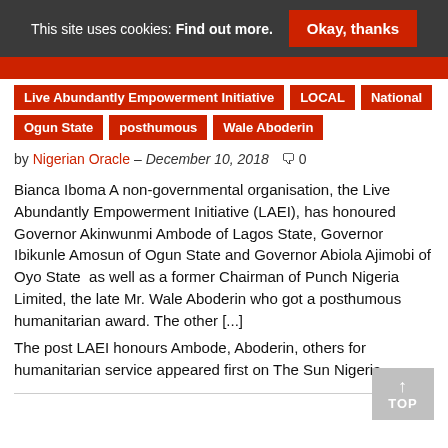This site uses cookies: Find out more.  Okay, thanks
Live Abundantly Empowerment Initiative
LOCAL
National
Ogun State
posthumous
Wale Aboderin
by Nigerian Oracle – December 10, 2018  0
Bianca Iboma A non-governmental organisation, the Live Abundantly Empowerment Initiative (LAEI), has honoured Governor Akinwunmi Ambode of Lagos State, Governor Ibikunle Amosun of Ogun State and Governor Abiola Ajimobi of Oyo State  as well as a former Chairman of Punch Nigeria Limited, the late Mr. Wale Aboderin who got a posthumous humanitarian award. The other [...]
The post LAEI honours Ambode, Aboderin, others for humanitarian service appeared first on The Sun Nigeria. ...